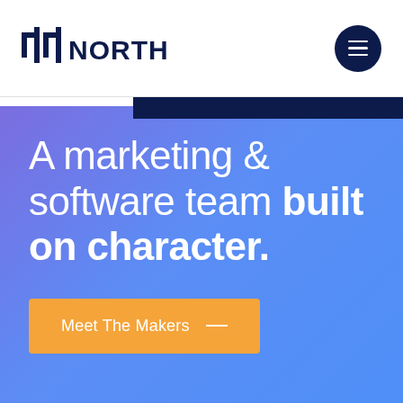44NORTH
[Figure (logo): 44North company logo with stylized '44' icon in dark navy blue]
A marketing & software team built on character.
Meet The Makers —